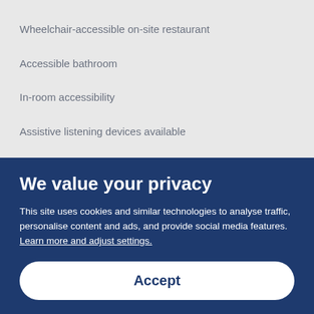Wheelchair-accessible on-site restaurant
Accessible bathroom
In-room accessibility
Assistive listening devices available
Wheelchair-accessible registration desk
Stair-free path to entrance
Wheelchair accessible (may have limitations)
Wheelchair-accessible meeting spaces/business centre
We value your privacy
This site uses cookies and similar technologies to analyse traffic, personalise content and ads, and provide social media features. Learn more and adjust settings.
Accept